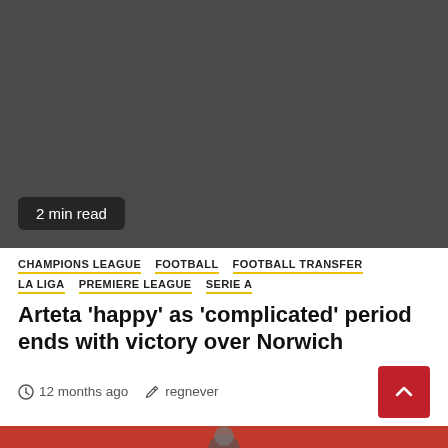[Figure (photo): Dark grey/charcoal hero image placeholder with '2 min read' badge in bottom left corner]
CHAMPIONS LEAGUE  FOOTBALL  FOOTBALL TRANSFER  LA LIGA  PREMIERE LEAGUE  SERIE A
Arteta 'happy' as 'complicated' period ends with victory over Norwich
12 months ago   regnever
[Figure (photo): Bottom partial image showing a footballer in front of red stadium seating]